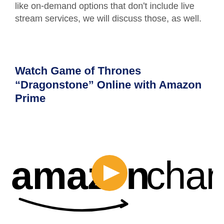like on-demand options that don't include live stream services, we will discuss those, as well.
Watch Game of Thrones “Dragonstone” Online with Amazon Prime
[Figure (logo): Amazon Channels logo: the word 'amazon' in black with an orange play button icon replacing the letter 'o', followed by the word 'channels' in black, and a curved arrow smile beneath 'amazon']